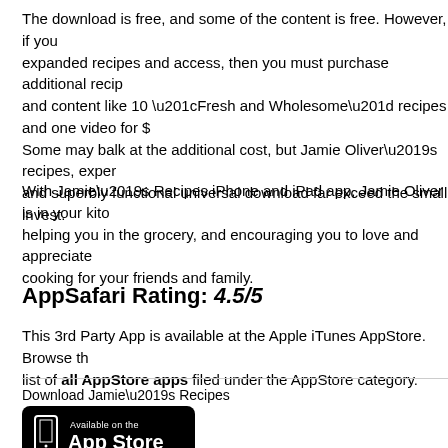The download is free, and some of the content is free. However, if you want expanded recipes and access, then you must purchase additional recipes and content like 10 “Fresh and Wholesome” recipes and one video for $. Some may balk at the additional cost, but Jamie Oliver’s recipes, exper and superbly functional universal download far exceed the small invest.
With Jamie’s Recipes iPhone and iPad app, Jamie Oliver is in your kitch helping you in the grocery, and encouraging you to love and appreciate cooking for your friends and family.
AppSafari Rating: 4.5/5
This 3rd Party App is available at the Apple iTunes AppStore. Browse th list of all AppStore apps filed under the AppStore category.
Download Jamie’s Recipes
[Figure (logo): Available on the App Store badge - black rounded rectangle with phone icon and white text]
| Price: Free |